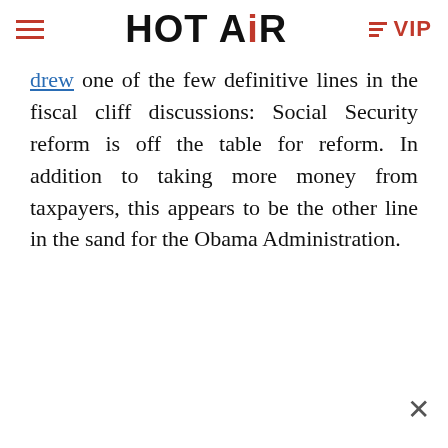HOT AIR | VIP
drew one of the few definitive lines in the fiscal cliff discussions: Social Security reform is off the table for reform. In addition to taking more money from taxpayers, this appears to be the other line in the sand for the Obama Administration.